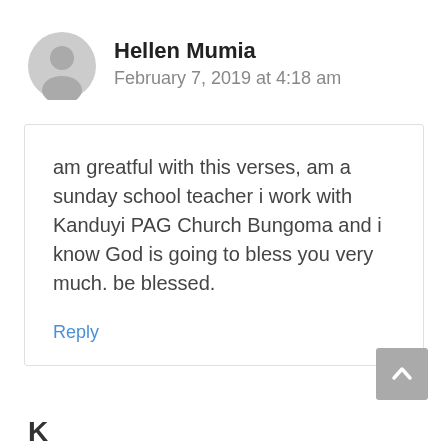Hellen Mumia
February 7, 2019 at 4:18 am
am greatful with this verses, am a sunday school teacher i work with Kanduyi PAG Church Bungoma and i know God is going to bless you very much. be blessed.
Reply